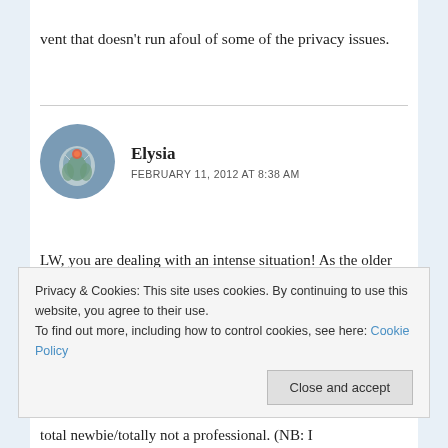vent that doesn't run afoul of some of the privacy issues.
Elysia
FEBRUARY 11, 2012 AT 8:38 AM
LW, you are dealing with an intense situation! As the older sister of a woman with severe disabilities, as a woman who grew up volunteering in her mom's special ed classrooms
Privacy & Cookies: This site uses cookies. By continuing to use this website, you agree to their use.
To find out more, including how to control cookies, see here: Cookie Policy
Close and accept
total newbie/totally not a professional. (NB: I